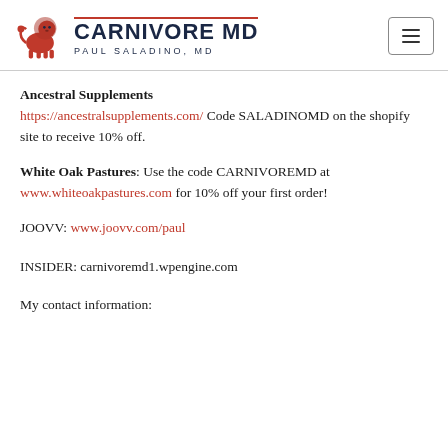CARNIVORE MD — PAUL SALADINO, MD
Ancestral Supplements
https://ancestralsupplements.com/ Code SALADINOMD on the shopify site to receive 10% off.
White Oak Pastures: Use the code CARNIVOREMD at www.whiteoakpastures.com for 10% off your first order!
JOOVV: www.joovv.com/paul
INSIDER: carnivoremd1.wpengine.com
My contact information: